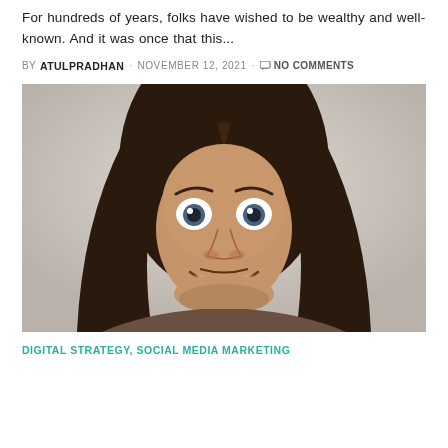For hundreds of years, folks have wished to be wealthy and well-known. And it was once that this...
BY ATULPRADHAN · NOVEMBER 12, 2021 · NO COMMENTS
[Figure (photo): Man with long dark hair, wide open eyes, and open mouth smile, photographed against a light grey background. Sepia/warm toned portrait photo.]
DIGITAL STRATEGY, SOCIAL MEDIA MARKETING